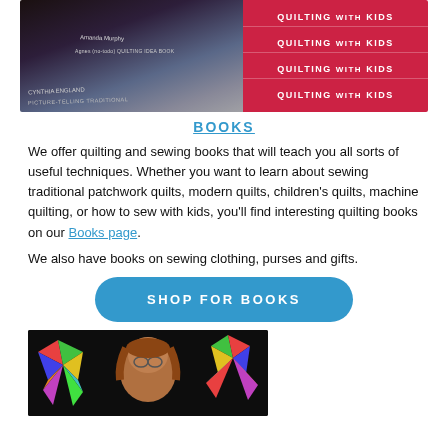[Figure (photo): Photo of stacked quilting books with 'Quilting with Kids' book spines visible on the right in red, and various other quilting books on the left with dark spines.]
BOOKS
We offer quilting and sewing books that will teach you all sorts of useful techniques. Whether you want to learn about sewing traditional patchwork quilts, modern quilts, children's quilts, machine quilting, or how to sew with kids, you'll find interesting quilting books on our Books page.
We also have books on sewing clothing, purses and gifts.
[Figure (other): Blue rounded button with white text reading SHOP FOR BOOKS]
[Figure (photo): Photo of a woman with glasses and brown hair in front of a colorful star quilt on a dark background.]